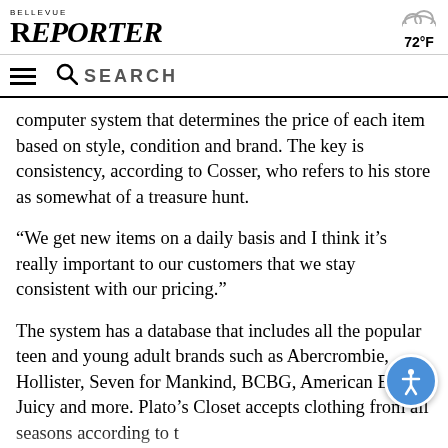BELLEVUE REPORTER
computer system that determines the price of each item based on style, condition and brand. The key is consistency, according to Cosser, who refers to his store as somewhat of a treasure hunt.
“We get new items on a daily basis and I think it’s really important to our customers that we stay consistent with our pricing.”
The system has a database that includes all the popular teen and young adult brands such as Abercrombie, Hollister, Seven for Mankind, BCBG, American Eagle, Juicy and more. Plato’s Closet accepts clothing from all seasons according to the individual store’s current merchandise need